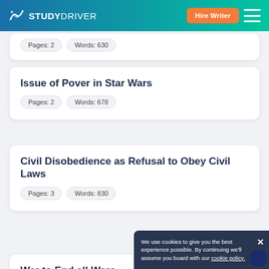STUDYDRIVER
Pages: 2   Words: 630
Issue of Pover in Star Wars
Pages: 2   Words: 678
Civil Disobedience as Refusal to Obey Civil Laws
Pages: 3   Words: 830
War to End all Wars
We use cookies to give you the best experience possible. By continuing we'll assume you board with our cookie policy.